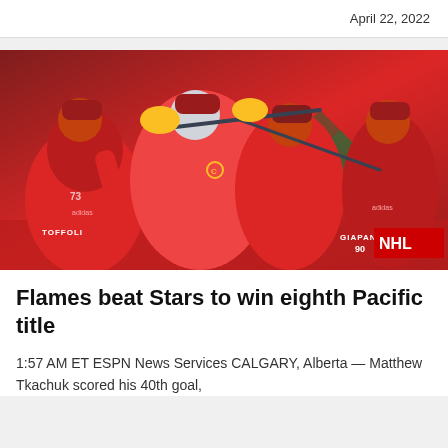April 22, 2022
[Figure (photo): Calgary Flames hockey players in red uniforms celebrating on ice, with jersey names TOFFOLI and GIAPANE visible. NHL badge in lower right corner.]
Flames beat Stars to win eighth Pacific title
1:57 AM ET ESPN News Services CALGARY, Alberta — Matthew Tkachuk scored his 40th goal,